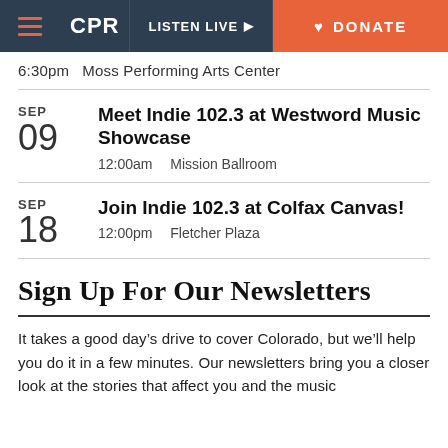CPR | LISTEN LIVE | DONATE
6:30pm   Moss Performing Arts Center
SEP 09 | Meet Indie 102.3 at Westword Music Showcase | 12:00am  Mission Ballroom
SEP 18 | Join Indie 102.3 at Colfax Canvas! | 12:00pm  Fletcher Plaza
Sign Up For Our Newsletters
It takes a good day’s drive to cover Colorado, but we’ll help you do it in a few minutes. Our newsletters bring you a closer look at the stories that affect you and the music